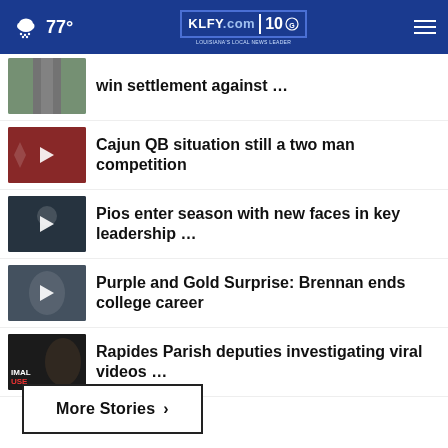77° KLFY.com 10 — Louisiana's Local News Leader
win settlement against …
Cajun QB situation still a two man competition
Pios enter season with new faces in key leadership …
Purple and Gold Surprise: Brennan ends college career
Rapides Parish deputies investigating viral videos …
More Stories ›